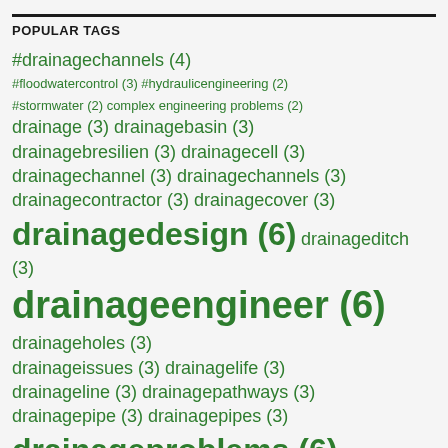POPULAR TAGS
#drainagechannels (4) #floodwatercontrol (3) #hydraulicengineering (2) #stormwater (2) complex engineering problems (2) drainage (3) drainagebasin (3) drainagebresilien (3) drainagecell (3) drainagechannel (3) drainagechannels (3) drainagecontractor (3) drainagecover (3) drainagedesign (6) drainageditch (3) drainageengineer (6) drainageholes (3) drainageissues (3) drainagelife (3) drainageline (3) drainagepathways (3) drainagepipe (3) drainagepipes (3) drainageproblems (6)